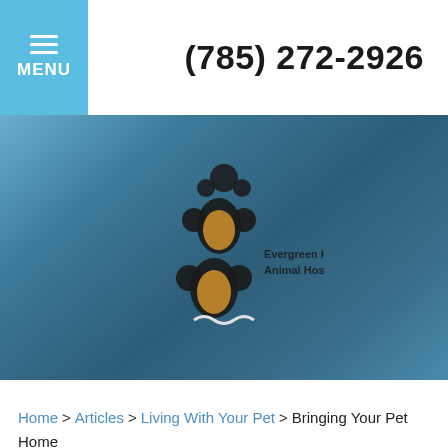MENU  (785) 272-2926
[Figure (logo): Veterinary clinic logo with paw prints and text 'Evergreen Hills Animal Hospital' on a dark gradient background]
Home > Articles > Living With Your Pet > Bringing Your Pet Home